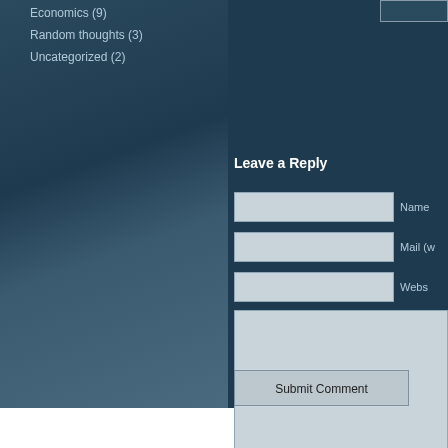Economics (9)
Random thoughts (3)
Uncategorized (2)
Leave a Reply
Name
Mail (w
Webs
Submit Comment